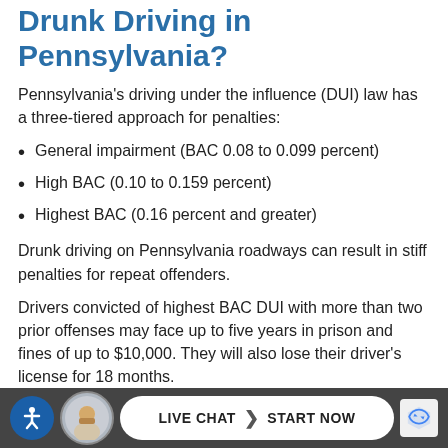Drunk Driving in Pennsylvania?
Pennsylvania's driving under the influence (DUI) law has a three-tiered approach for penalties:
General impairment (BAC 0.08 to 0.099 percent)
High BAC (0.10 to 0.159 percent)
Highest BAC (0.16 percent and greater)
Drunk driving on Pennsylvania roadways can result in stiff penalties for repeat offenders.
Drivers convicted of highest BAC DUI with more than two prior offenses may face up to five years in prison and fines of up to $10,000. They will also lose their driver's license for 18 months.
First-time offenders convicted of general